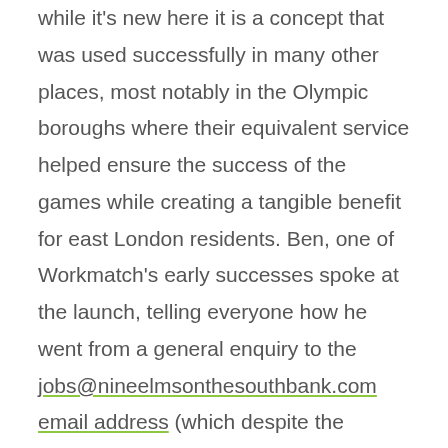while it's new here it is a concept that was used successfully in many other places, most notably in the Olympic boroughs where their equivalent service helped ensure the success of the games while creating a tangible benefit for east London residents. Ben, one of Workmatch's early successes spoke at the launch, telling everyone how he went from a general enquiry to the jobs@nineelmsonthesouthbank.com email address (which despite the address is managed by Wandsworth on behalf of Nine Elms) to a placement and then a job in a matter of weeks.

Huge thanks and congratulations on the launch of the Workmatch service are due to the council's Economic